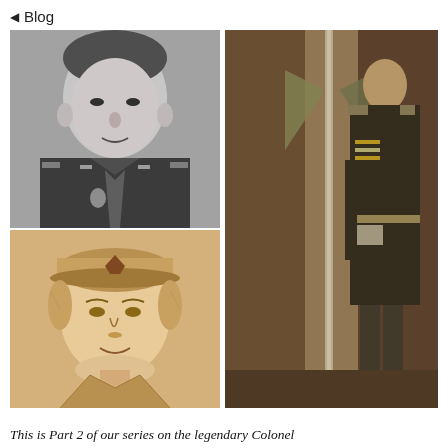◁  Blog
[Figure (photo): Black and white portrait photograph of a man in military uniform with insignia and medals visible on his chest]
[Figure (illustration): Sepia-toned pencil sketch portrait of a person wearing a military cap]
[Figure (photo): Sepia vintage photograph of a person in military dress uniform holding a sword or staff, with decorative elements in the background]
This is Part 2 of our series on the legendary Colonel